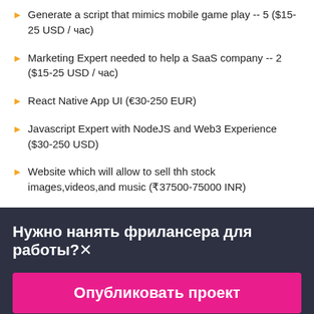Generate a script that mimics mobile game play -- 5 ($15-25 USD / час)
Marketing Expert needed to help a SaaS company -- 2 ($15-25 USD / час)
React Native App UI (€30-250 EUR)
Javascript Expert with NodeJS and Web3 Experience ($30-250 USD)
Website which will allow to sell thh stock images,videos,and music (₹37500-75000 INR)
Нужно нанять фрилансера для работы?✕
Опубликовать проект